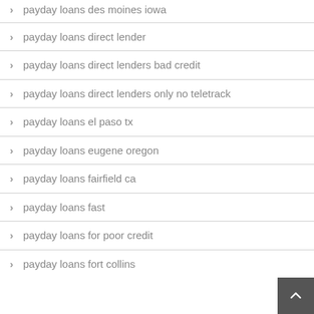payday loans des moines iowa
payday loans direct lender
payday loans direct lenders bad credit
payday loans direct lenders only no teletrack
payday loans el paso tx
payday loans eugene oregon
payday loans fairfield ca
payday loans fast
payday loans for poor credit
payday loans fort collins